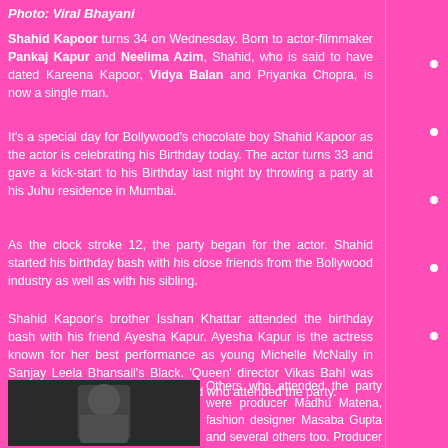Photo: Viral Bhayani
Shahid Kapoor turns 34 on Wednesday. Born to actor-filmmaker Pankaj Kapur and Neelima Azim, Shahid, who is said to have dated Kareena Kapoor, Vidya Balan and Priyanka Chopra, is now a single man.
It's a special day for Bollywood's chocolate boy Shahid Kapoor as the actor is celebrating his Birthday today. The actor turns 33 and gave a kick-start to his Birthday last night by throwing a party at his Juhu residence in Mumbai.
As the clock stroke 12, the party began for the actor. Shahid started his birthday bash with his close friends from the Bollywood industry as well as with his sibling.
Shahid Kapoor's brother Isshan Khattar attended the birthday bash with his friend Ayesha Kapur. Ayesha Kapur is the actress known for her best performance as young Michelle McNally in Sanjay Leela Bhansali's Black. 'Queen' director Vikas Bahl was among other popular B-Town friend who attended the party.
[Figure (photo): Photo of Shahid Kapoor at his birthday party]
Others who attended the party were producer Madhu Matena, fashion designer Masaba Gupta and several others too. Producer Madhu